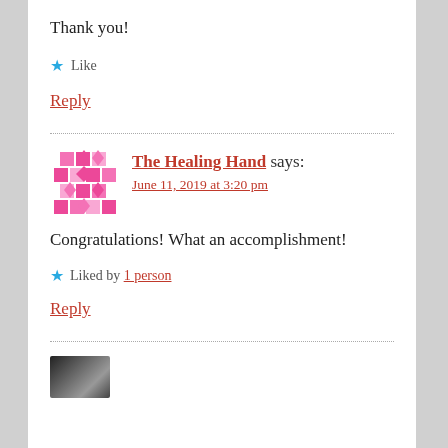Thank you!
★ Like
Reply
The Healing Hand says:
June 11, 2019 at 3:20 pm
Congratulations! What an accomplishment!
★ Liked by 1 person
Reply